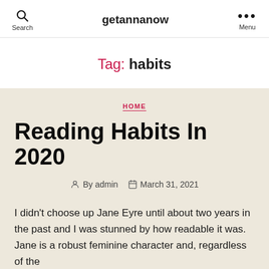Search  getannanow  Menu
Tag: habits
HOME
Reading Habits In 2020
By admin  March 31, 2021
I didn't choose up Jane Eyre until about two years in the past and I was stunned by how readable it was. Jane is a robust feminine character and, regardless of the